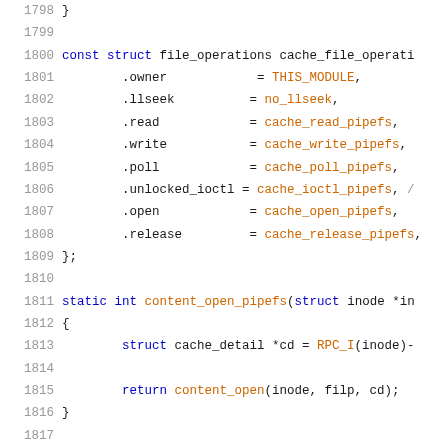Source code listing lines 1798-1819, C kernel code showing file_operations struct and content_open_pipefs / content_release_pipefs functions